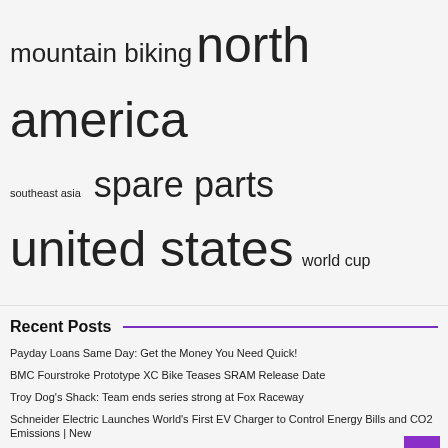mountain biking north america southeast asia spare parts united states world cup
Recent Posts
Payday Loans Same Day: Get the Money You Need Quick!
BMC Fourstroke Prototype XC Bike Teases SRAM Release Date
Troy Dog's Shack: Team ends series strong at Fox Raceway
Schneider Electric Launches World's First EV Charger to Control Energy Bills and CO2 Emissions | New
Estonian rider Jorgen Talviku talks about Racing Pro Motocross